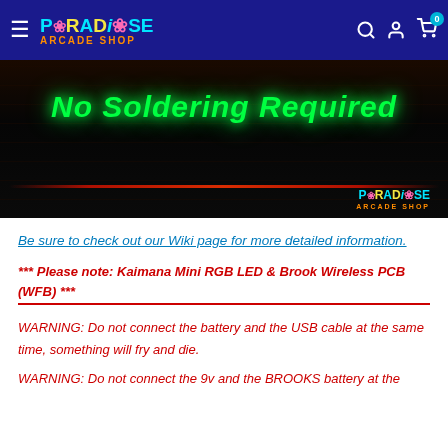Paradise Arcade Shop
[Figure (photo): Dark background image with green glowing text 'No Soldering Required' and Paradise Arcade Shop logo watermark, with a red LED line at the bottom]
Be sure to check out our Wiki page for more detailed information.
*** Please note: Kaimana Mini RGB LED & Brook Wireless PCB (WFB) ***
WARNING: Do not connect the battery and the USB cable at the same time, something will fry and die.
WARNING: Do not connect the 9v and the BROOKS battery at the